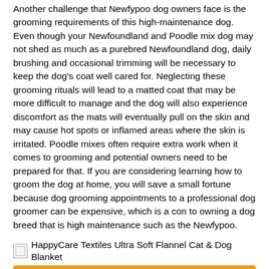Another challenge that Newfypoo dog owners face is the grooming requirements of this high-maintenance dog. Even though your Newfoundland and Poodle mix dog may not shed as much as a purebred Newfoundland dog, daily brushing and occasional trimming will be necessary to keep the dog's coat well cared for. Neglecting these grooming rituals will lead to a matted coat that may be more difficult to manage and the dog will also experience discomfort as the mats will eventually pull on the skin and may cause hot spots or inflamed areas where the skin is irritated. Poodle mixes often require extra work when it comes to grooming and potential owners need to be prepared for that. If you are considering learning how to groom the dog at home, you will save a small fortune because dog grooming appointments to a professional dog groomer can be expensive, which is a con to owning a dog breed that is high maintenance such as the Newfypoo.
[Figure (other): HappyCare Textiles Ultra Soft Flannel Cat & Dog Blanket product image (broken/placeholder) with Check Price button]
Do Newfypoo dogs drool? Unfortunately most Newfypoo dogs produce a considerable amount of drooling that may require extra work on the owner's part which is a con to owning a Newfoundland and Poodle cross.